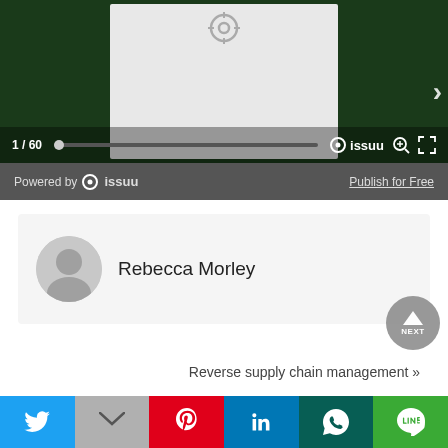[Figure (screenshot): Issuu document viewer embedded widget showing page 1 of 60, with green background, navigation arrow, page slider, Issuu logo toolbar, and 'Powered by issuu / Publish for Free' bar.]
Rebecca Morley
[Figure (other): Scroll-to-top circular button with upward triangle arrow and 'NEXT' label]
Reverse supply chain management »
[Figure (other): Social sharing bar with Twitter, Gmail, Pinterest, LinkedIn, WhatsApp, and LINE buttons]